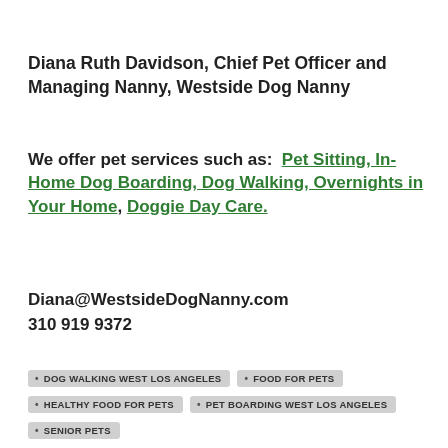Diana Ruth Davidson, Chief Pet Officer and Managing Nanny, Westside Dog Nanny
We offer pet services such as: Pet Sitting, In-Home Dog Boarding, Dog Walking, Overnights in Your Home, Doggie Day Care.
Diana@WestsideDogNanny.com
310 919 9372
DOG WALKING WEST LOS ANGELES
FOOD FOR PETS
HEALTHY FOOD FOR PETS
PET BOARDING WEST LOS ANGELES
SENIOR PETS